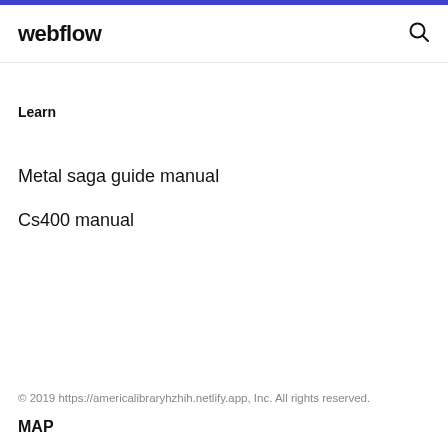webflow
Learn
Metal saga guide manual
Cs400 manual
© 2019 https://americalibraryhzhih.netlify.app, Inc. All rights reserved.
MAP